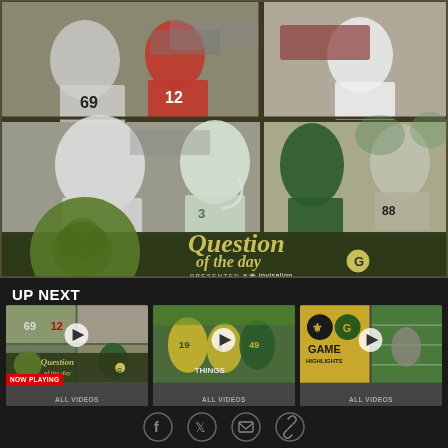[Figure (screenshot): Video player showing Green Bay Packers 'Question of the Day' presented by Invisalign. Collage of player photos with the show title overlaid on a dark green background.]
UP NEXT
[Figure (screenshot): Video thumbnail - NOW PLAYING - Question of the Day G (Packers)]
[Figure (screenshot): Video thumbnail - ALL VIDEOS - Packers players on field]
[Figure (screenshot): Video thumbnail - ALL VIDEOS - Game highlights with Saints vs Packers]
NOW PLAYING
ALL VIDEOS
ALL VIDEOS
ALL VIDEOS